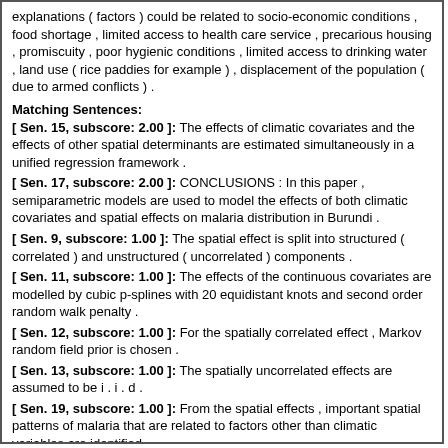explanations ( factors ) could be related to socio-economic conditions , food shortage , limited access to health care service , precarious housing , promiscuity , poor hygienic conditions , limited access to drinking water , land use ( rice paddies for example ) , displacement of the population ( due to armed conflicts ) .
Matching Sentences:
[ Sen. 15, subscore: 2.00 ]: The effects of climatic covariates and the effects of other spatial determinants are estimated simultaneously in a unified regression framework .
[ Sen. 17, subscore: 2.00 ]: CONCLUSIONS : In this paper , semiparametric models are used to model the effects of both climatic covariates and spatial effects on malaria distribution in Burundi .
[ Sen. 9, subscore: 1.00 ]: The spatial effect is split into structured ( correlated ) and unstructured ( uncorrelated ) components .
[ Sen. 11, subscore: 1.00 ]: The effects of the continuous covariates are modelled by cubic p-splines with 20 equidistant knots and second order random walk penalty .
[ Sen. 12, subscore: 1.00 ]: For the spatially correlated effect , Markov random field prior is chosen .
[ Sen. 13, subscore: 1.00 ]: The spatially uncorrelated effects are assumed to be i . i . d .
[ Sen. 19, subscore: 1.00 ]: From the spatial effects , important spatial patterns of malaria that are related to factors other than climatic variables are identified .
Score: 9.00
Title: Changes in the efficiency of fertiliser use in China .
Author: Jin J
Year: 2012 Type: MEDLINE